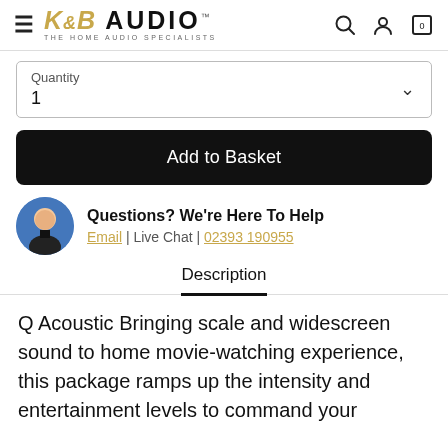K&B AUDIO THE HOME AUDIO SPECIALISTS
Quantity
1
Add to Basket
Questions? We're Here To Help
Email | Live Chat | 02393 190955
Description
Q Acoustic Bringing scale and widescreen sound to home movie-watching experience, this package ramps up the intensity and entertainment levels to command your